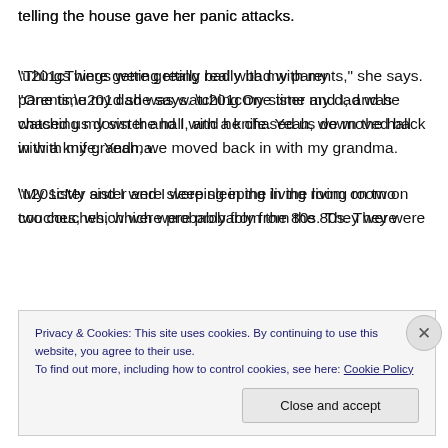telling the house gave her panic attacks.
“Things were getting really bad with my parents,” she says. “One time my dad was watching my sister and I, and he chased us down the hall with a knife. Yeah, we moved back in with my grandma.
“My sister and I were sleeping in the living room on two couches, which were probably from the 80s. They were
Privacy & Cookies: This site uses cookies. By continuing to use this website, you agree to their use.
To find out more, including how to control cookies, see here: Cookie Policy
Close and accept